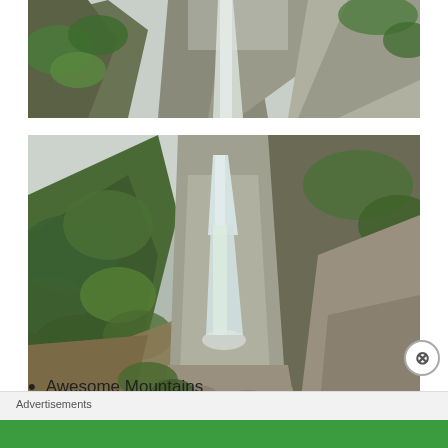[Figure (photo): Top portion of a waterfall flowing over rocky cliffs with green vegetation, misty mountain scene, partial crop.]
[Figure (photo): A large waterfall cascading down a steep rocky mountain gorge surrounded by lush green forest and shrubs. Rocky riverbed visible at the bottom.]
Awesome Mountains
Advertisements